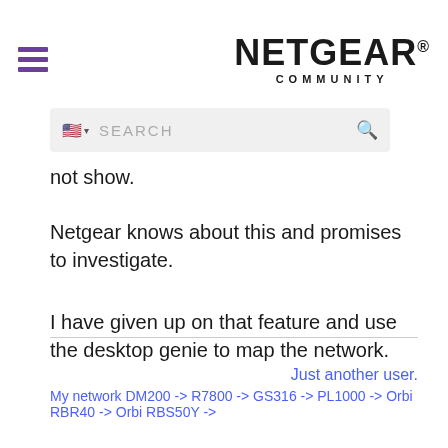NETGEAR® COMMUNITY
not show.
Netgear knows about this and promises to investigate.
I have given up on that feature and use the desktop genie to map the network.
Just another user.
My network DM200 -> R7800 -> GS316 -> PL1000 -> Orbi RBR40 -> Orbi RBS50Y ->